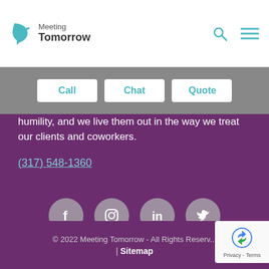[Figure (logo): Meeting Tomorrow logo with stylized arrow icon and text 'Meeting Tomorrow']
[Figure (other): Search icon (magnifying glass) and hamburger menu icon in header]
[Figure (other): Navigation bar with three white buttons: Call, Chat, Quote]
...meetings and events around the country. Our company values are kindness, commitment & humility, and we live them out in the way we treat our clients and coworkers.
(317) 548-1360
[Figure (other): Social media icons row: Facebook, Instagram, LinkedIn, Twitter — gray circles on purple background]
[Figure (other): BBB Accredited Business badge]
© 2022 Meeting Tomorrow - All Rights Reserved | Sitemap